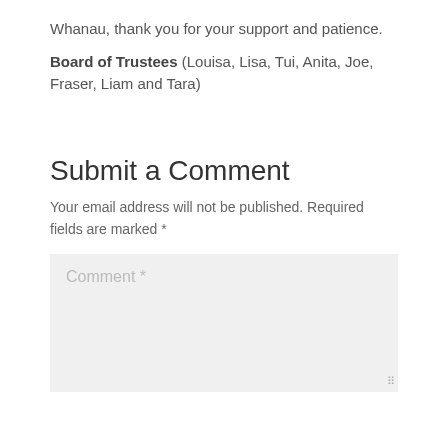Whanau, thank you for your support and patience.
Board of Trustees (Louisa, Lisa, Tui, Anita, Joe, Fraser, Liam and Tara)
Submit a Comment
Your email address will not be published. Required fields are marked *
Comment *